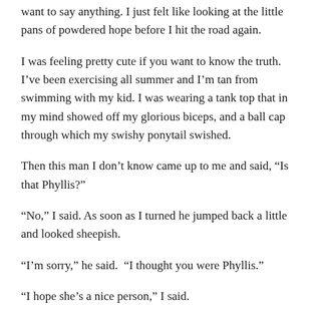want to say anything. I just felt like looking at the little pans of powdered hope before I hit the road again.
I was feeling pretty cute if you want to know the truth. I've been exercising all summer and I'm tan from swimming with my kid. I was wearing a tank top that in my mind showed off my glorious biceps, and a ball cap through which my swishy ponytail swished.
Then this man I don't know came up to me and said, “Is that Phyllis?”
“No,” I said. As soon as I turned he jumped back a little and looked sheepish.
“I’m sorry,” he said.  “I thought you were Phyllis.”
“I hope she’s a nice person,” I said.
“She is. She’s my neighbor,” the man said. And looked